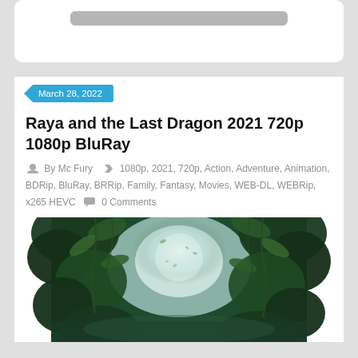[Figure (other): Top card with a gray bar element, partially visible at top of page]
Raya and the Last Dragon 2021 720p 1080p BluRay
By Mc Fury  1080p, 2021, 720p, Action, Adventure, Animation, BDRip, BluRay, BRRip, Family, Fantasy, Movies, WEB-DL, WEBRip, x265 HEVC  0 Comments
[Figure (photo): Jungle/forest scene with misty light filtering through dense tropical foliage and vines — movie still from Raya and the Last Dragon]